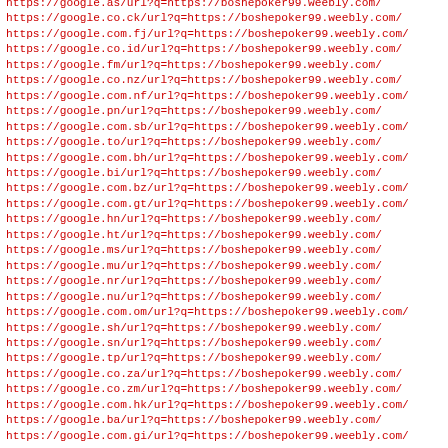https://google.as/url?q=https://boshepoker99.weebly.com/
https://google.co.ck/url?q=https://boshepoker99.weebly.com/
https://google.com.fj/url?q=https://boshepoker99.weebly.com/
https://google.co.id/url?q=https://boshepoker99.weebly.com/
https://google.fm/url?q=https://boshepoker99.weebly.com/
https://google.co.nz/url?q=https://boshepoker99.weebly.com/
https://google.com.nf/url?q=https://boshepoker99.weebly.com/
https://google.pn/url?q=https://boshepoker99.weebly.com/
https://google.com.sb/url?q=https://boshepoker99.weebly.com/
https://google.to/url?q=https://boshepoker99.weebly.com/
https://google.com.bh/url?q=https://boshepoker99.weebly.com/
https://google.bi/url?q=https://boshepoker99.weebly.com/
https://google.com.bz/url?q=https://boshepoker99.weebly.com/
https://google.com.gt/url?q=https://boshepoker99.weebly.com/
https://google.hn/url?q=https://boshepoker99.weebly.com/
https://google.ht/url?q=https://boshepoker99.weebly.com/
https://google.ms/url?q=https://boshepoker99.weebly.com/
https://google.mu/url?q=https://boshepoker99.weebly.com/
https://google.nr/url?q=https://boshepoker99.weebly.com/
https://google.nu/url?q=https://boshepoker99.weebly.com/
https://google.com.om/url?q=https://boshepoker99.weebly.com/
https://google.sh/url?q=https://boshepoker99.weebly.com/
https://google.sn/url?q=https://boshepoker99.weebly.com/
https://google.tp/url?q=https://boshepoker99.weebly.com/
https://google.co.za/url?q=https://boshepoker99.weebly.com/
https://google.co.zm/url?q=https://boshepoker99.weebly.com/
https://google.com.hk/url?q=https://boshepoker99.weebly.com/
https://google.ba/url?q=https://boshepoker99.weebly.com/
https://google.com.gi/url?q=https://boshepoker99.weebly.com/